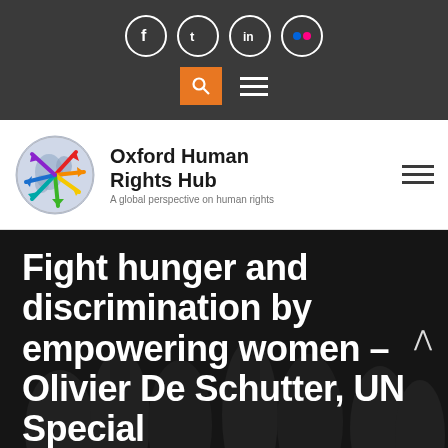Social icons: Facebook, Twitter, LinkedIn, Flickr; Search button; Menu
[Figure (logo): Oxford Human Rights Hub logo — globe with colorful radial arrows]
Oxford Human Rights Hub — A global perspective on human rights
Fight hunger and discrimination by empowering women – Olivier De Schutter, UN Special